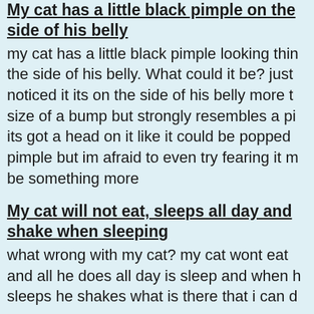My cat has a little black pimple on the side of his belly
my cat has a little black pimple looking thing on the side of his belly. What could it be? just noticed it its on the side of his belly more the size of a bump but strongly resembles a pimple its got a head on it like it could be popped like a pimple but im afraid to even try fearing it may be something more
My cat will not eat, sleeps all day and shakes when sleeping
what wrong with my cat? my cat wont eat and all he does all day is sleep and when he sleeps he shakes what is there that i can d
My cats stomach is bloated
Stomach is hard